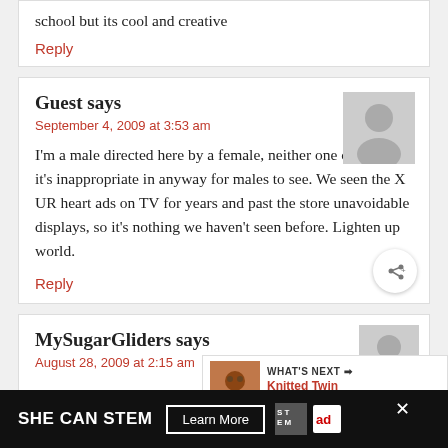school but its cool and creative
Reply
Guest says
September 4, 2009 at 3:53 am
I'm a male directed here by a female, neither one of us feels it's inappropriate in anyway for males to see. We seen the X UR heart ads on TV for years and past the store unavoidable displays, so it's nothing we haven't seen before. Lighten up world.
Reply
MySugarGliders says
August 28, 2009 at 2:15 am
SHE CAN STEM  Learn More